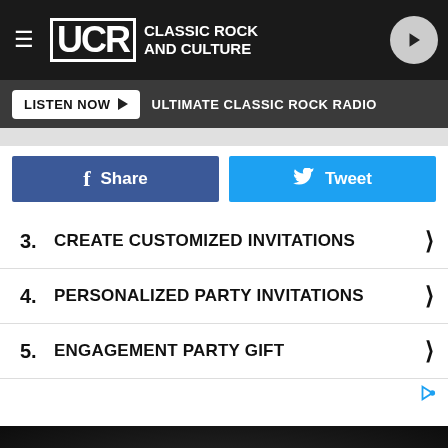UCR Classic Rock and Culture | LISTEN NOW | ULTIMATE CLASSIC ROCK RADIO
3.  CREATE CUSTOMIZED INVITATIONS
4.  PERSONALIZED PARTY INVITATIONS
5.  ENGAGEMENT PARTY GIFT
[Figure (screenshot): BitLife advertisement banner at the bottom of a dark section, showing FAIL text, animated character, fire graphic, and 'START A NEW LIFE' tagline]